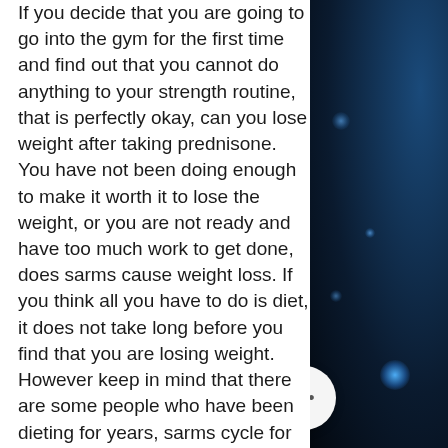If you decide that you are going to go into the gym for the first time and find out that you cannot do anything to your strength routine, that is perfectly okay, can you lose weight after taking prednisone. You have not been doing enough to make it worth it to lose the weight, or you are not ready and have too much work to get done, does sarms cause weight loss. If you think all you have to do is diet, it does not take long before you find that you are losing weight. However keep in mind that there are some people who have been dieting for years, sarms cycle for weight loss. They need to do more.
The Bottom Line
The idea of dieting is a fantastic tool and can be incredibly useful, but it needs to be done with proper planning in mind - especially if you have a long, long road ahead of you.